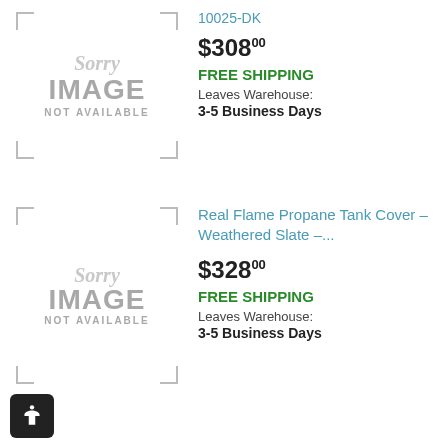[Figure (illustration): Sorry Image Not Available placeholder for first product]
10025-DK
$308.00
FREE SHIPPING
Leaves Warehouse:
3-5 Business Days
[Figure (illustration): Sorry Image Not Available placeholder for second product]
Real Flame Propane Tank Cover - Weathered Slate -...
$328.00
FREE SHIPPING
Leaves Warehouse:
3-5 Business Days